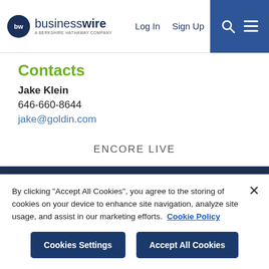businesswire — A BERKSHIRE HATHAWAY COMPANY | Log In | Sign Up
Contacts
Jake Klein
646-660-8644
jake@goldin.com
ENCORE LIVE
[Figure (logo): Twitter and LinkedIn social media icons on dark navy background]
By clicking "Accept All Cookies", you agree to the storing of cookies on your device to enhance site navigation, analyze site usage, and assist in our marketing efforts. Cookie Policy
Cookies Settings | Accept All Cookies